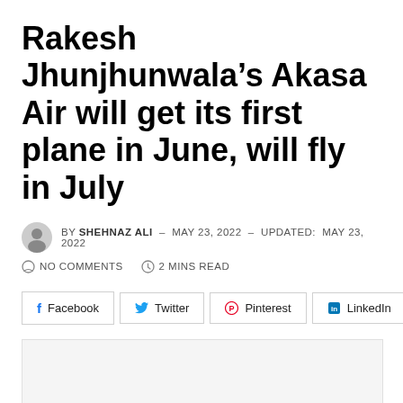Rakesh Jhunjhunwala's Akasa Air will get its first plane in June, will fly in July
BY SHEHNAZ ALI – MAY 23, 2022 – UPDATED: MAY 23, 2022 | NO COMMENTS | 2 MINS READ
[Figure (other): Social share buttons for Facebook, Twitter, Pinterest, LinkedIn, and a share icon]
[Figure (photo): Article image placeholder (light gray box)]